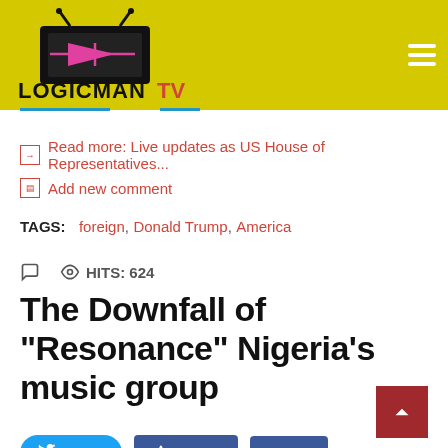[Figure (logo): LogicmanTV logo on yellow background with black TV icon and pink arrow, plus hamburger menu icon]
Read more: Live updates as US House of Representatives...
Add new comment
TAGS: foreign, Donald Trump, America
HITS: 624
The Downfall of "Resonance" Nigeria's music group
Tweet  Like 0  Share